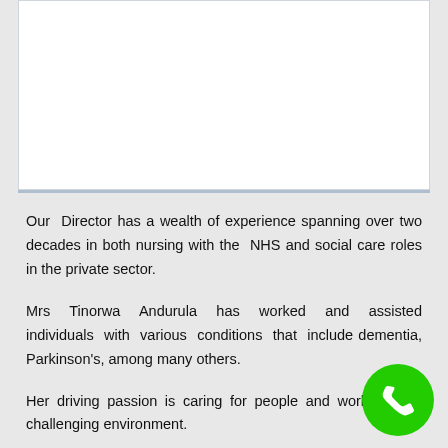[Figure (photo): White image box at the top of the page, likely containing a photo related to care services]
Our Director has a wealth of experience spanning over two decades in both nursing with the NHS and social care roles in the private sector.
Mrs Tinorwa Andurula has worked and assisted individuals with various conditions that include dementia, Parkinson's, among many others.
Her driving passion is caring for people and working in a challenging environment.
She keeps up to date with NHS and CQC pol...